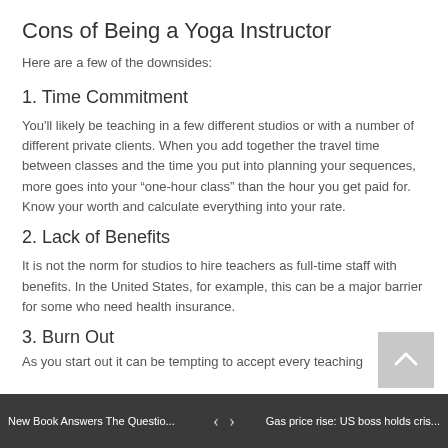Cons of Being a Yoga Instructor
Here are a few of the downsides:
1. Time Commitment
You'll likely be teaching in a few different studios or with a number of different private clients. When you add together the travel time between classes and the time you put into planning your sequences, more goes into your “one-hour class” than the hour you get paid for. Know your worth and calculate everything into your rate.
2. Lack of Benefits
It is not the norm for studios to hire teachers as full-time staff with benefits. In the United States, for example, this can be a major barrier for some who need health insurance.
3. Burn Out
As you start out it can be tempting to accept every teaching
New Book Answers The Questio... ‹ › Gas price rise: US boss holds cris...